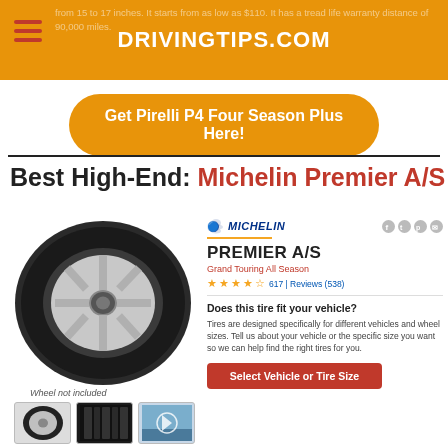DRIVINGTIPS.COM
from 15 to 17 inches. It starts from as low as $110. It has a tread life warranty distance of 90,000 miles.
Get Pirelli P4 Four Season Plus Here!
Best High-End: Michelin Premier A/S
[Figure (photo): Michelin Premier A/S tire mounted on a silver alloy wheel, side profile view. Label underneath reads 'Wheel not included'. Three thumbnails below showing different angles.]
PREMIER A/S
Grand Touring All Season
617 | Reviews (538)
Does this tire fit your vehicle?
Tires are designed specifically for different vehicles and wheel sizes. Tell us about your vehicle or the specific size you want so we can help find the right tires for you.
Select Vehicle or Tire Size